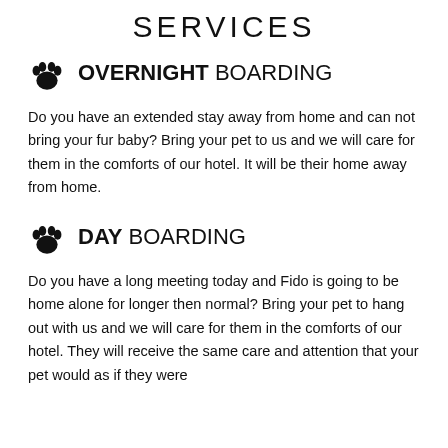SERVICES
OVERNIGHT BOARDING
Do you have an extended stay away from home and can not bring your fur baby? Bring your pet to us and we will care for them in the comforts of our hotel. It will be their home away from home.
DAY BOARDING
Do you have a long meeting today and Fido is going to be home alone for longer then normal? Bring your pet to hang out with us and we will care for them in the comforts of our hotel. They will receive the same care and attention that your pet would as if they were